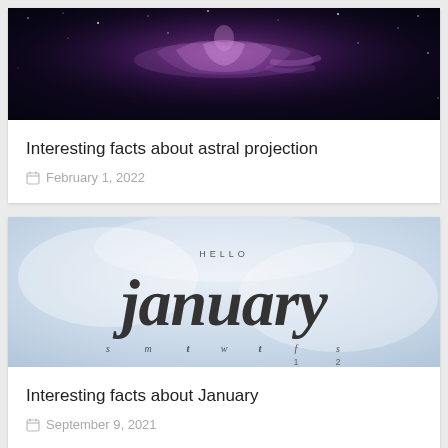[Figure (photo): Dark space background with a glowing translucent human figure floating, surrounded by stars — astral projection concept image]
Interesting facts about astral projection
February 1, 2022
[Figure (photo): Light blue blurred background with handwritten-style dark text reading HELLO january, with calendar day letters s m t w t f s below]
Interesting facts about January
September 9, 2021